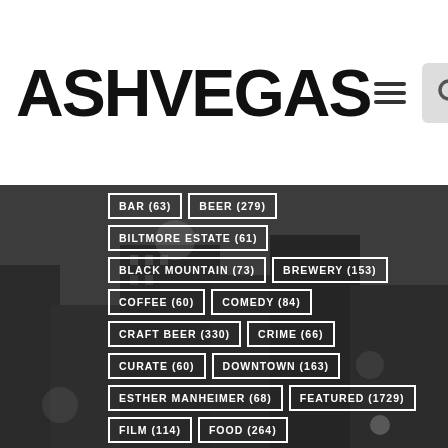ASHVEGAS
[Figure (screenshot): Tag cloud navigation on dark city photo background showing categories: BAR (63), BEER (279), BILTMORE ESTATE (61), BLACK MOUNTAIN (73), BREWERY (153), COFFEE (60), COMEDY (84), CRAFT BEER (330), CRIME (66), CURATE (60), DOWNTOWN (163), ESTHER MANHEIMER (68), FEATURED (1729), FILM (114), FOOD (264)]
Related Stories
Stu Helm's #PositiveLists: 5 Reasons Not to Hate the World Today